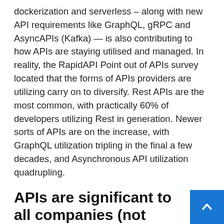dockerization and serverless – along with new API requirements like GraphQL, gRPC and AsyncAPIs (Kafka) — is also contributing to how APIs are staying utilised and managed. In reality, the RapidAPI Point out of APIs survey located that the forms of APIs providers are utilizing carry on to diversify. Rest APIs are the most common, with practically 60% of developers utilizing Rest in generation. Newer sorts of APIs are on the increase, with GraphQL utilization tripling in the final a few decades, and Asynchronous API utilization quadrupling.
APIs are significant to all companies (not just tech companies)